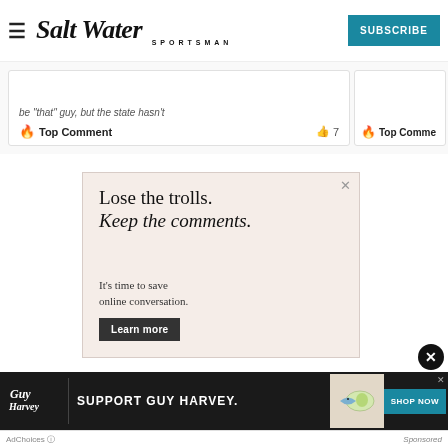Salt Water Sportsman | SUBSCRIBE
be "that" guy, but the state hasn't
Top Comment  👍 7
Top Comment
[Figure (infographic): Advertisement: Lose the trolls. Keep the comments. It's time to save online conversation. Learn more.]
[Figure (infographic): Guy Harvey advertisement: Support Guy Harvey. Shop Now. Fish illustration on t-shirt.]
AdChoices | Sponsored